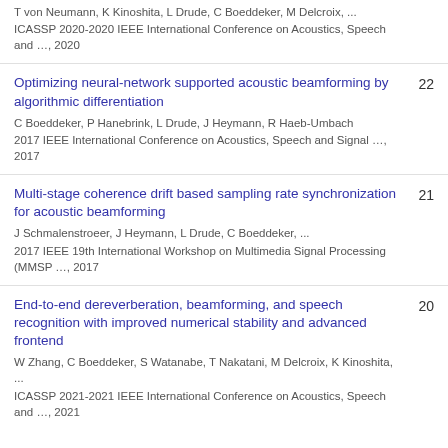T von Neumann, K Kinoshita, L Drude, C Boeddeker, M Delcroix, ...
ICASSP 2020-2020 IEEE International Conference on Acoustics, Speech and …, 2020
Optimizing neural-network supported acoustic beamforming by algorithmic differentiation
C Boeddeker, P Hanebrink, L Drude, J Heymann, R Haeb-Umbach
2017 IEEE International Conference on Acoustics, Speech and Signal …, 2017
22
Multi-stage coherence drift based sampling rate synchronization for acoustic beamforming
J Schmalenstroeer, J Heymann, L Drude, C Boeddeker, ...
2017 IEEE 19th International Workshop on Multimedia Signal Processing (MMSP …, 2017
21
End-to-end dereverberation, beamforming, and speech recognition with improved numerical stability and advanced frontend
W Zhang, C Boeddeker, S Watanabe, T Nakatani, M Delcroix, K Kinoshita, ...
ICASSP 2021-2021 IEEE International Conference on Acoustics, Speech and …, 2021
20